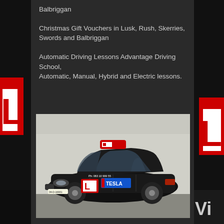Balbriggan
Christmas Gift Vouchers in Lusk, Rush, Skerries, Swords and Balbriggan
Automatic Driving Lessons Advantage Driving School, Automatic, Manual, Hybrid and Electric lessons.
[Figure (photo): Black Toyota Yaris with Tesla Driving School branding/L plate signage and roof sign, parked on a street]